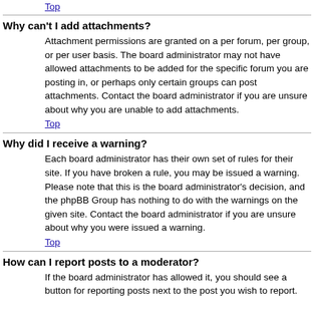Top
Why can't I add attachments?
Attachment permissions are granted on a per forum, per group, or per user basis. The board administrator may not have allowed attachments to be added for the specific forum you are posting in, or perhaps only certain groups can post attachments. Contact the board administrator if you are unsure about why you are unable to add attachments.
Top
Why did I receive a warning?
Each board administrator has their own set of rules for their site. If you have broken a rule, you may be issued a warning. Please note that this is the board administrator's decision, and the phpBB Group has nothing to do with the warnings on the given site. Contact the board administrator if you are unsure about why you were issued a warning.
Top
How can I report posts to a moderator?
If the board administrator has allowed it, you should see a button for reporting posts next to the post you wish to report.